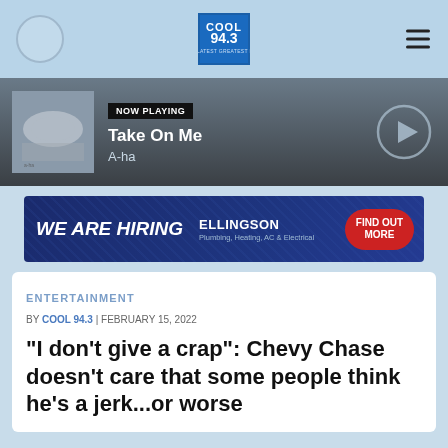[Figure (screenshot): Cool 94.3 radio station logo in top navigation bar]
[Figure (screenshot): Now Playing bar showing A-ha Take On Me with album art and play button]
[Figure (screenshot): Advertisement banner: WE ARE HIRING - ELLINGSON Plumbing, Heating, AC & Electrical - FIND OUT MORE]
ENTERTAINMENT
BY COOL 94.3 | FEBRUARY 15, 2022
“I don’t give a crap”: Chevy Chase doesn’t care that some people think he’s a jerk…or worse